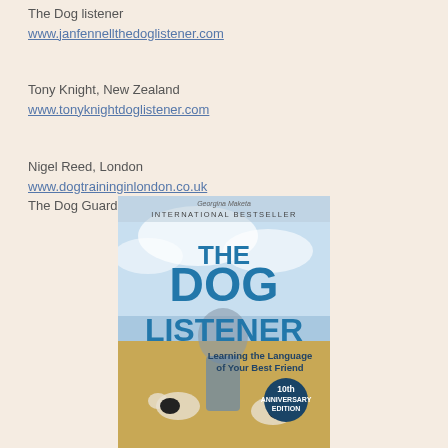The Dog listener
www.janfennellthedoglistener.com
Tony Knight, New Zealand
www.tonyknightdoglistener.com
Nigel Reed, London
www.dogtraininginlondon.co.uk
The Dog Guardian
[Figure (photo): Book cover of 'The Dog Listener' by Jan Fennell — International Bestseller, 10th Anniversary Edition. Shows a woman with dogs in a field. Subtitle: Learning the Language of Your Best Friend.]